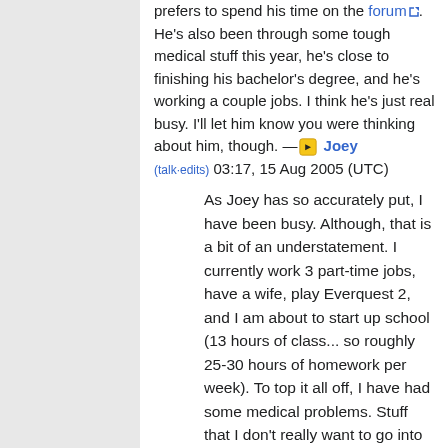prefers to spend his time on the forum. He's also been through some tough medical stuff this year, he's close to finishing his bachelor's degree, and he's working a couple jobs. I think he's just real busy. I'll let him know you were thinking about him, though. — Joey (talk·edits) 03:17, 15 Aug 2005 (UTC)
As Joey has so accurately put, I have been busy. Although, that is a bit of an understatement. I currently work 3 part-time jobs, have a wife, play Everquest 2, and I am about to start up school (13 hours of class... so roughly 25-30 hours of homework per week). To top it all off, I have had some medical problems. Stuff that I don't really want to go into (for the sake of your lunch).
When we switched over to the new wiki software I was right in the thick of everything. I just haven't taken the time to sit down and learn all of the